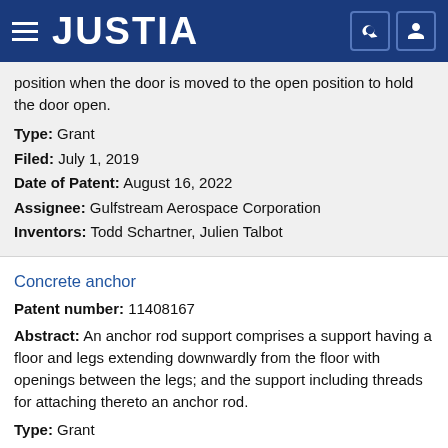JUSTIA
position when the door is moved to the open position to hold the door open.
Type: Grant
Filed: July 1, 2019
Date of Patent: August 16, 2022
Assignee: Gulfstream Aerospace Corporation
Inventors: Todd Schartner, Julien Talbot
Concrete anchor
Patent number: 11408167
Abstract: An anchor rod support comprises a support having a floor and legs extending downwardly from the floor with openings between the legs; and the support including threads for attaching thereto an anchor rod.
Type: Grant
Filed: June 2, 2020